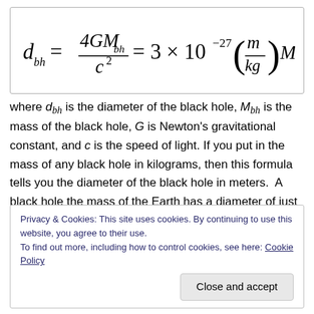where d_bh is the diameter of the black hole, M_bh is the mass of the black hole, G is Newton's gravitational constant, and c is the speed of light. If you put in the mass of any black hole in kilograms, then this formula tells you the diameter of the black hole in meters.  A black hole the mass of the Earth has a diameter of just over 1.5 centimeters. A black hole the mass of Neptune has a
Privacy & Cookies: This site uses cookies. By continuing to use this website, you agree to their use.
To find out more, including how to control cookies, see here: Cookie Policy